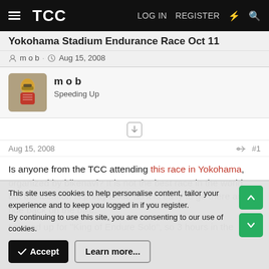TCC  LOG IN  REGISTER
Yokohama Stadium Endurance Race Oct 11
m o b · Aug 15, 2008
m o b
Speeding Up
Aug 15, 2008  #1
Is anyone from the TCC attending this race in Yokohama, organized by bikenavi? It is not the best race in the world, but the location is pretty close ao it is easy to go there and ride back on the bike.
I signed up for "King of Endure Solo", so 3 hours in the
This site uses cookies to help personalise content, tailor your experience and to keep you logged in if you register.
By continuing to use this site, you are consenting to our use of cookies.